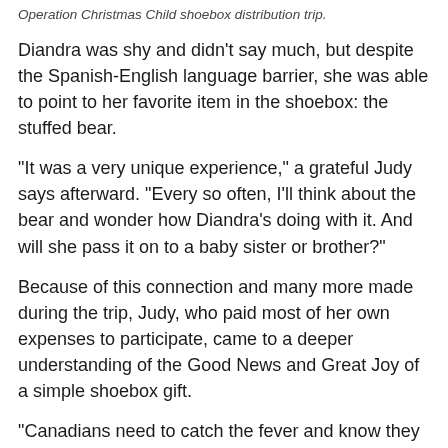Operation Christmas Child shoebox distribution trip.
Diandra was shy and didn't say much, but despite the Spanish-English language barrier, she was able to point to her favorite item in the shoebox: the stuffed bear.
“It was a very unique experience,” a grateful Judy says afterward. “Every so often, I’ll think about the bear and wonder how Diandra’s doing with it. And will she pass it on to a baby sister or brother?”
Because of this connection and many more made during the trip, Judy, who paid most of her own expenses to participate, came to a deeper understanding of the Good News and Great Joy of a simple shoebox gift.
“Canadians need to catch the fever and know they are being blessed (by packing shoeboxes), even if they don’t give their